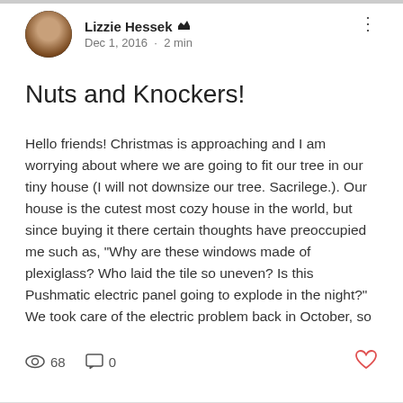Lizzie Hessek · Dec 1, 2016 · 2 min
Nuts and Knockers!
Hello friends! Christmas is approaching and I am worrying about where we are going to fit our tree in our tiny house (I will not downsize our tree. Sacrilege.). Our house is the cutest most cozy house in the world, but since buying it there certain thoughts have preoccupied me such as, "Why are these windows made of plexiglass? Who laid the tile so uneven? Is this Pushmatic electric panel going to explode in the night?" We took care of the electric problem back in October, so
68 views · 0 comments